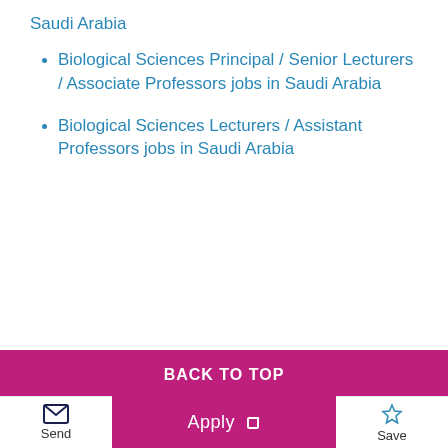Saudi Arabia
Biological Sciences Principal / Senior Lecturers / Associate Professors jobs in Saudi Arabia
Biological Sciences Lecturers / Assistant Professors jobs in Saudi Arabia
BACK TO TOP
[Figure (other): Social media icons: Facebook, Twitter, LinkedIn]
Contact us
Send | Apply | Save